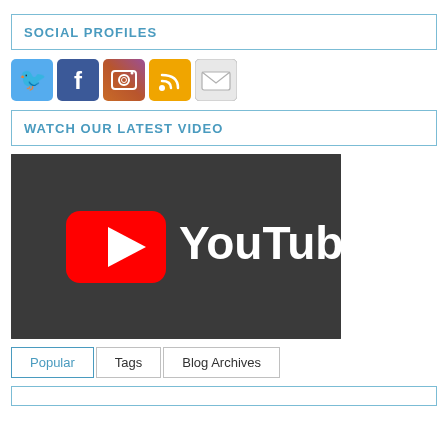SOCIAL PROFILES
[Figure (illustration): Row of social media icons: Twitter (blue bird), Facebook (blue f), Instagram (camera), RSS (orange feed), Email (envelope)]
WATCH OUR LATEST VIDEO
[Figure (screenshot): YouTube logo on dark grey background — red play button rectangle with white triangle and white 'YouTube' text]
Popular | Tags | Blog Archives